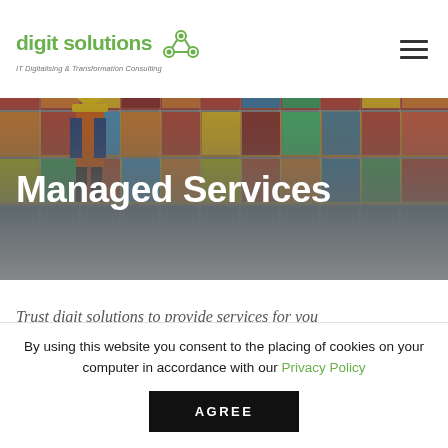digit solutions — IT Digitalising & Transformation Consulting
[Figure (photo): Hero image showing a worker in hard hat and high-visibility vest in front of colorful stacked shipping containers, with a dark gradient overlay]
Managed Services
Trust digit solutions to provide services for you
By using this website you consent to the placing of cookies on your computer in accordance with our Privacy Policy
AGREE